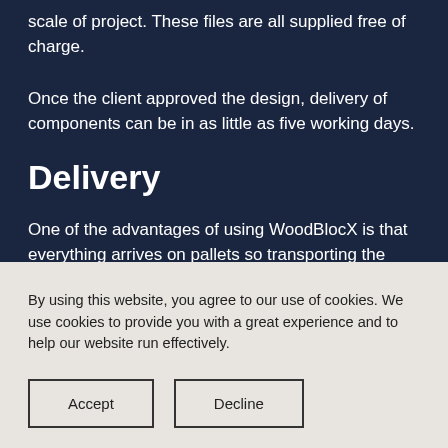scale of project. These files are all supplied free of charge.
Once the client approved the design, delivery of components can be in as little as five working days.
Delivery
One of the advantages of using WoodBlocX is that everything arrives on pallets so transporting the materials via lifts or steps to the site is no problem. Installation is quick as all components are pre-cut and there is very little waste. WoodBlocX is the only truly modular planting system that is manufactured
By using this website, you agree to our use of cookies. We use cookies to provide you with a great experience and to help our website run effectively.
Accept
Decline